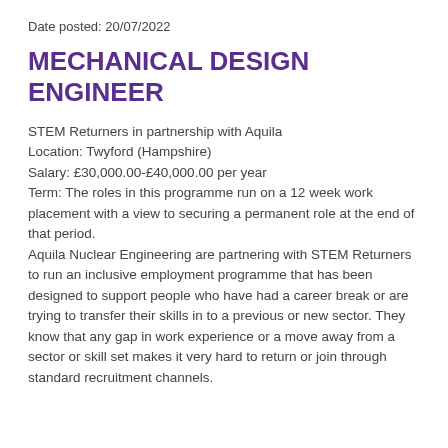Date posted: 20/07/2022
MECHANICAL DESIGN ENGINEER
STEM Returners in partnership with Aquila
Location: Twyford (Hampshire)
Salary: £30,000.00-£40,000.00 per year
Term: The roles in this programme run on a 12 week work placement with a view to securing a permanent role at the end of that period.
Aquila Nuclear Engineering are partnering with STEM Returners to run an inclusive employment programme that has been designed to support people who have had a career break or are trying to transfer their skills in to a previous or new sector. They know that any gap in work experience or a move away from a sector or skill set makes it very hard to return or join through standard recruitment channels.